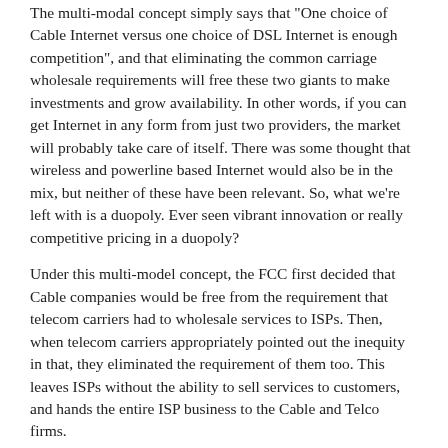The multi-modal concept simply says that "One choice of Cable Internet versus one choice of DSL Internet is enough competition", and that eliminating the common carriage wholesale requirements will free these two giants to make investments and grow availability. In other words, if you can get Internet in any form from just two providers, the market will probably take care of itself. There was some thought that wireless and powerline based Internet would also be in the mix, but neither of these have been relevant. So, what we're left with is a duopoly. Ever seen vibrant innovation or really competitive pricing in a duopoly?
Under this multi-model concept, the FCC first decided that Cable companies would be free from the requirement that telecom carriers had to wholesale services to ISPs. Then, when telecom carriers appropriately pointed out the inequity in that, they eliminated the requirement of them too. This leaves ISPs without the ability to sell services to customers, and hands the entire ISP business to the Cable and Telco firms.
The Telecom Act is intact, but barriers to entry are very high. This takes the typical ISP who buys wholesale services out of the picture, leaving behind only regulated competitive carriers. (Sonic.net has formed a telco carrier for this reason in order to remain a going concern.)
I visited the FCC myself to speak to staff about these issues